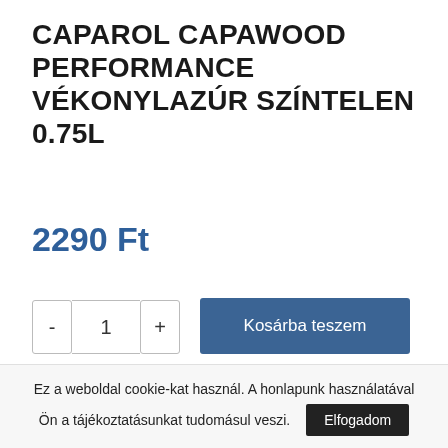CAPAROL CAPAWOOD PERFORMANCE VÉKONYLAZÚR SZÍNTELEN 0.75L
2290 Ft
- 1 +
Kosárba teszem
Kategóriák: Festékek, lakkok, lazúrok, hígítók, Lazúrok, Szerszám, barkács
Ez a weboldal cookie-kat használ. A honlapunk használatával Ön a tájékoztatásunkat tudomásul veszi.
Elfogadom